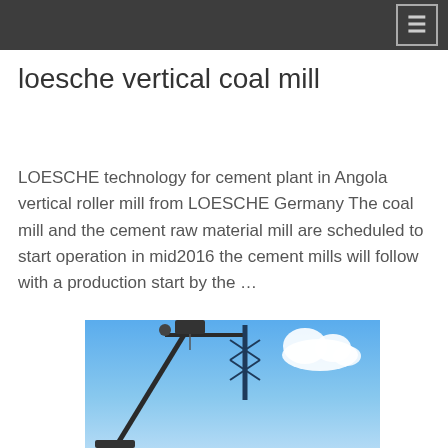☰
loesche vertical coal mill
LOESCHE technology for cement plant in Angola vertical roller mill from LOESCHE Germany The coal mill and the cement raw material mill are scheduled to start operation in mid2016 the cement mills will follow with a production start by the …
[Figure (photo): Photograph of industrial crane equipment against a blue sky with clouds]